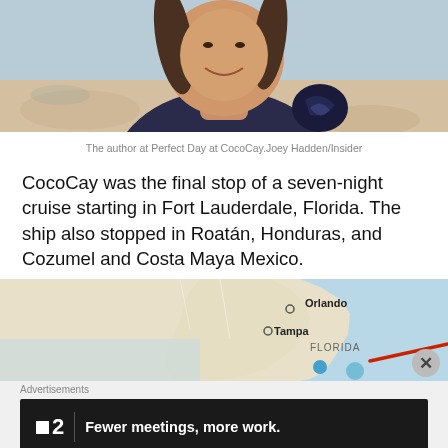[Figure (photo): Close-up photo of a smiling woman with braided hair and tattoos on her shoulder, at Perfect Day at CocoCay beach]
The author at Perfect Day at CocoCay.Joey Hadden/Insider
CocoCay was the final stop of a seven-night cruise starting in Fort Lauderdale, Florida. The ship also stopped in Roatán, Honduras, and Cozumel and Costa Maya Mexico.
[Figure (map): Map showing Florida with Orlando and Tampa labeled, with a red route line heading southeast, and a close button overlay]
Advertisements
[Figure (screenshot): Dark advertisement banner with a logo showing a small white square and '2', and text reading 'Fewer meetings, more work.']